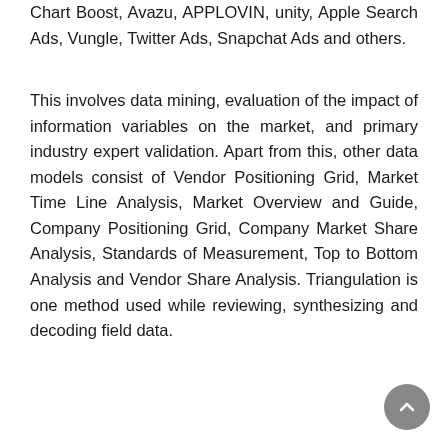Chart Boost, Avazu, APPLOVIN, unity, Apple Search Ads, Vungle, Twitter Ads, Snapchat Ads and others.
This involves data mining, evaluation of the impact of information variables on the market, and primary industry expert validation. Apart from this, other data models consist of Vendor Positioning Grid, Market Time Line Analysis, Market Overview and Guide, Company Positioning Grid, Company Market Share Analysis, Standards of Measurement, Top to Bottom Analysis and Vendor Share Analysis. Triangulation is one method used while reviewing, synthesizing and decoding field data.